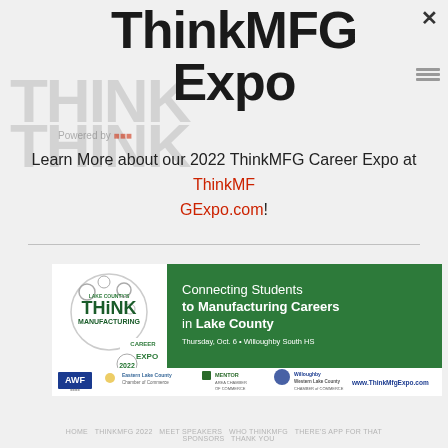ThinkMFG Expo
Learn More about our 2022 ThinkMFG Career Expo at ThinkMFGExpo.com!
[Figure (infographic): ThinkMFG Career Expo 2022 banner image showing 'Connecting Students to Manufacturing Careers in Lake County', Thursday Oct. 6, Willoughby South HS, with sponsor logos for AWF, Eastern Lake County Chamber of Commerce, Mentor Area Chamber of Commerce, and Willoughby Western Lake County Chamber of Commerce. URL: www.ThinkMfgExpo.com]
HOME THINKMFG 2022 MEET SPEAKERS WHO THINKMFG THERE'S APP FOR THAT SPONSORS THANK YOU